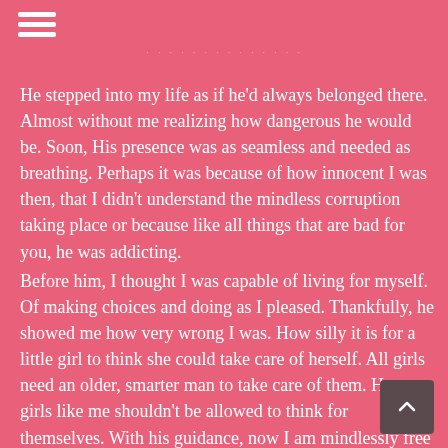· · · · · · · · · · · · · · ·
He stepped into my life as if he'd always belonged there. Almost without me realizing how dangerous he would be. Soon, His presence was as seamless and needed as breathing. Perhaps it was because of how innocent I was then, that I didn't understand the mindless corruption taking place or because like all things that are bad for you, he was addicting.
Before him, I thought I was capable of living for myself.  Of making choices and doing as I pleased. Thankfully, he showed me how very wrong I was. How silly it is for a little girl to think she could take care of herself. All girls need an older, smarter man to take care of them. Horny girls like me shouldn't be allowed to think for themselves. With his guidance, now I am mindlessly free to live in obedience.